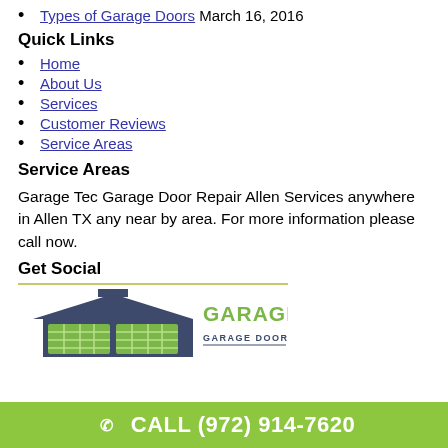Types of Garage Doors March 16, 2016
Quick Links
Home
About Us
Services
Customer Reviews
Service Areas
Service Areas
Garage Tec Garage Door Repair Allen Services anywhere in Allen TX any near by area. For more information please call now.
Get Social
[Figure (logo): Garage Tec Garage Door Repair Arlington logo with garage illustration and green text]
CALL (972) 914-7620